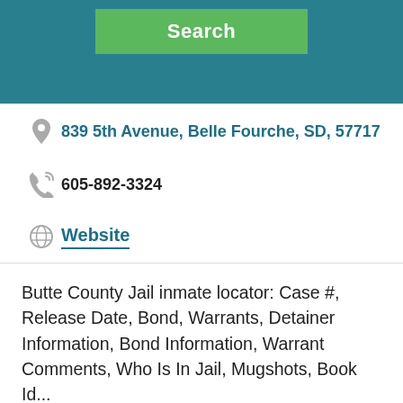[Figure (screenshot): Green Search button on teal/dark cyan header background]
839 5th Avenue, Belle Fourche, SD, 57717
605-892-3324
Website
Butte County Jail inmate locator: Case #, Release Date, Bond, Warrants, Detainer Information, Bond Information, Warrant Comments, Who Is In Jail, Mugshots, Book Id...